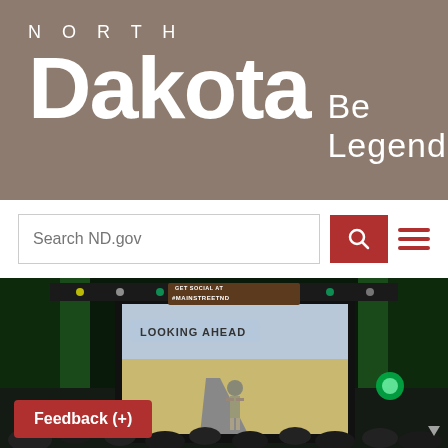NORTH Dakota Be Legendary.
[Figure (screenshot): North Dakota government website header with search bar and conference/event photo showing a speaker on stage with a projection screen reading 'LOOKING AHEAD' and audience, with a banner reading 'GET SOCIAL AT #MAINSTREETND']
Feedback (+)